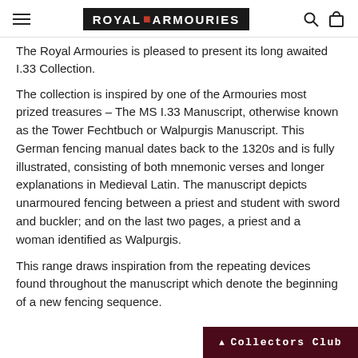ROYAL ARMOURIES
The Royal Armouries is pleased to present its long awaited I.33 Collection.
The collection is inspired by one of the Armouries most prized treasures – The MS I.33 Manuscript, otherwise known as the Tower Fechtbuch or Walpurgis Manuscript. This German fencing manual dates back to the 1320s and is fully illustrated, consisting of both mnemonic verses and longer explanations in Medieval Latin. The manuscript depicts unarmoured fencing between a priest and student with sword and buckler; and on the last two pages, a priest and a woman identified as Walpurgis.
This range draws inspiration from the repeating devices found throughout the manuscript which denote the beginning of a new fencing sequence.